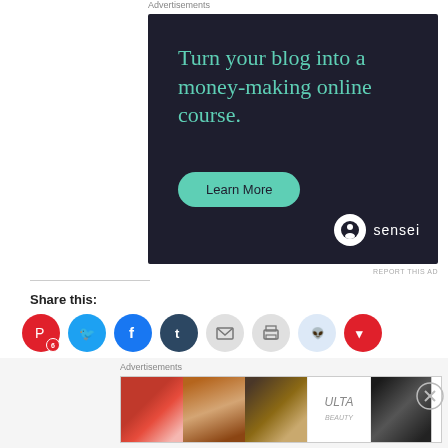Advertisements
[Figure (infographic): Dark navy advertisement for Sensei platform. Text reads 'Turn your blog into a money-making online course.' with a teal 'Learn More' button and Sensei logo at bottom right.]
REPORT THIS AD
Share this:
[Figure (infographic): Row of social sharing icons: Pinterest (red, with badge '6'), Twitter (blue), Facebook (blue), Tumblr (dark blue), Email (gray), Print (gray), Reddit (light blue), Pocket (red)]
Advertisements
[Figure (infographic): Ulta Beauty advertisement banner with makeup imagery: lips, brush, eye, Ulta logo, dramatic eye, and 'SHOP NOW' text]
REPORT THIS AD